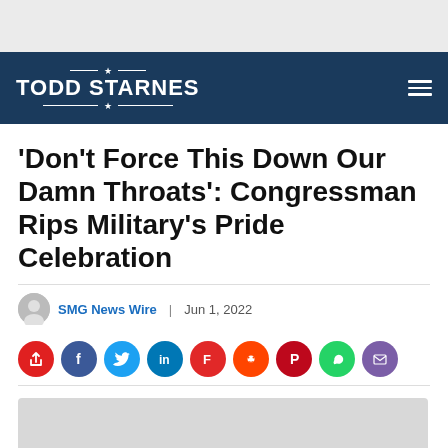[Figure (logo): Todd Starnes website logo on dark blue navigation bar]
'Don't Force This Down Our Damn Throats': Congressman Rips Military's Pride Celebration
SMG News Wire | Jun 1, 2022
[Figure (infographic): Row of social media sharing buttons: Starnes share, Facebook, Twitter, LinkedIn, Flipboard, Reddit, Pinterest, WhatsApp, Email]
[Figure (other): Video/audio media player with gray background showing a radio/signal icon, with a black audio control bar at bottom left showing play, mute, progress bar, and volume controls]